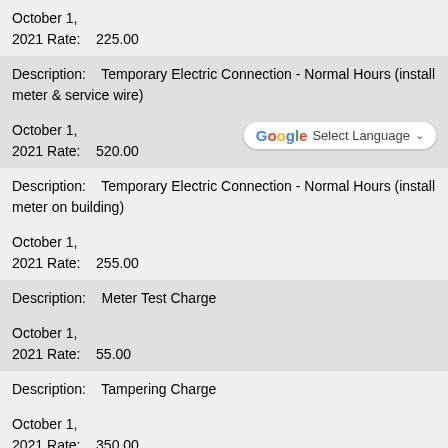October 1,
2021 Rate:    225.00
Description:    Temporary Electric Connection - Normal Hours (install meter & service wire)
October 1,
2021 Rate:    520.00
Description:    Temporary Electric Connection - Normal Hours (install meter on building)
October 1,
2021 Rate:    255.00
Description:    Meter Test Charge
October 1,
2021 Rate:    55.00
Description:    Tampering Charge
October 1,
2021 Rate:    350.00
Description:    Street Banner